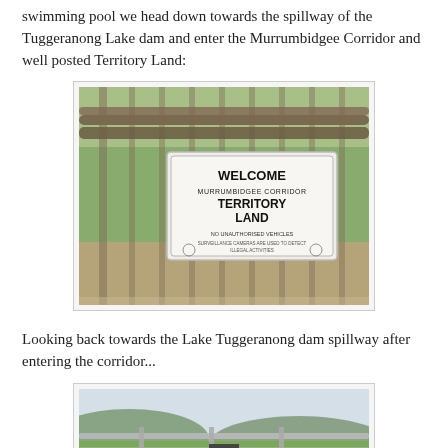swimming pool we head down towards the spillway of the Tuggeranong Lake dam and enter the Murrumbidgee Corridor and well posted Territory Land:
[Figure (photo): Photo of a gate with a sign reading 'WELCOME MURRUMBIDGEE CORRIDOR TERRITORY LAND NO UNAUTHORISED VEHICLES SURVEILLANCE CAMERAS ARE USED TO DETECT ILLEGAL ACTIVITIES' with trees visible in the background.]
Looking back towards the Lake Tuggeranong dam spillway after entering the corridor...
[Figure (photo): Photo looking back towards the Lake Tuggeranong dam spillway after entering the Murrumbidgee Corridor, showing a fence/gate structure with hills and sky in the background.]